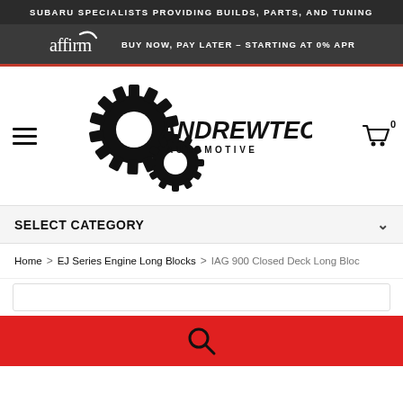SUBARU SPECIALISTS PROVIDING BUILDS, PARTS, AND TUNING
affirm  BUY NOW, PAY LATER - STARTING AT 0% APR
[Figure (logo): AndrewTech Automotive logo with gear graphics and stylized text]
SELECT CATEGORY
Home > EJ Series Engine Long Blocks > IAG 900 Closed Deck Long Bloc
[Figure (screenshot): Search input field and red search bar with magnifying glass icon]